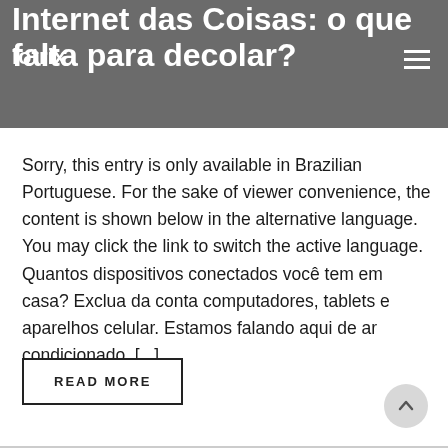iotrix
Internet das Coisas: o que falta para decolar?
Sorry, this entry is only available in Brazilian Portuguese. For the sake of viewer convenience, the content is shown below in the alternative language. You may click the link to switch the active language. Quantos dispositivos conectados você tem em casa? Exclua da conta computadores, tablets e aparelhos celular. Estamos falando aqui de ar condicionado, [...]
READ MORE